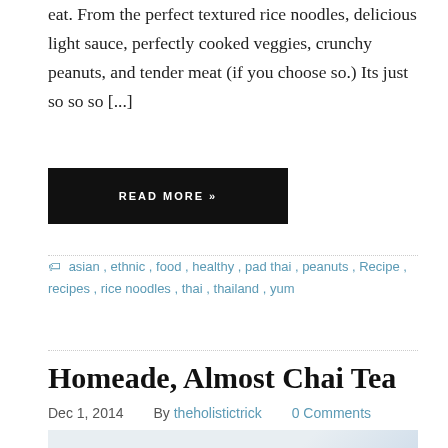eat. From the perfect textured rice noodles, delicious light sauce, perfectly cooked veggies, crunchy peanuts, and tender meat (if you choose so.) Its just so so so [...]
READ MORE »
asian , ethnic , food , healthy , pad thai , peanuts , Recipe , recipes , rice noodles , thai , thailand , yum
Homeade, Almost Chai Tea
Dec 1, 2014   By theholistictrick   0 Comments
[Figure (photo): Photo related to Homeade, Almost Chai Tea blog post]